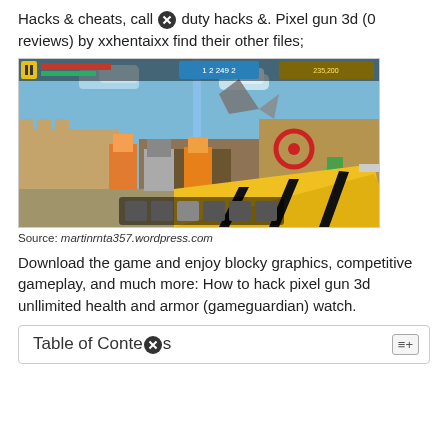Hacks & cheats, call ✖ duty hacks &. Pixel gun 3d (0 reviews) by xxhentaixx find their other files;
[Figure (screenshot): Screenshot of Pixel Gun 3d mobile game showing pixel-art style first-person shooter with colorful blocky characters, a dragon, castle walls, and a yellow/black striped gun in the foreground. HUD visible at top.]
Source: martinrnta357.wordpress.com
Download the game and enjoy blocky graphics, competitive gameplay, and much more: How to hack pixel gun 3d unllimited health and armor (gameguardian) watch.
Table of Contents